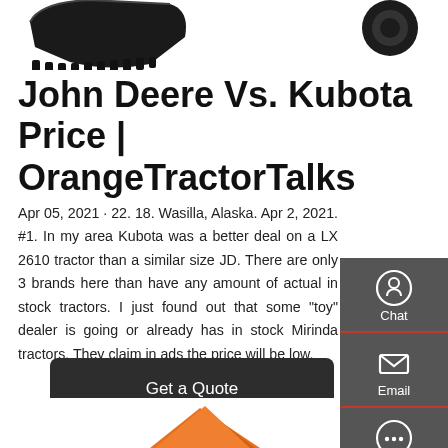[Figure (photo): Top portion showing excavator/tractor bucket attachments on white background, partially cropped]
John Deere Vs. Kubota Price | OrangeTractorTalks
Apr 05, 2021 · 22. 18. Wasilla, Alaska. Apr 2, 2021. #1. In my area Kubota was a better deal on a LX 2610 tractor than a similar size JD. There are only 3 brands here than have any amount of actual in stock tractors. I just found out that some "toy" dealer is going or already has in stock Mirinda tractors. They claim in ads the price will be low.
[Figure (infographic): Sidebar panel with dark gray background showing Chat, Email, and Contact icons with labels]
[Figure (photo): Get a Quote button — dark rounded rectangle]
[Figure (photo): Bottom of page showing partial orange tractor/bucket image]